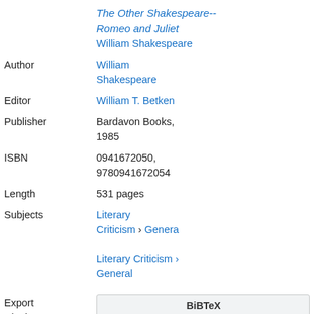The Other Shakespeare-- Romeo and Juliet
William Shakespeare
| Field | Value |
| --- | --- |
| Author | William Shakespeare |
| Editor | William T. Betken |
| Publisher | Bardavon Books, 1985 |
| ISBN | 0941672050, 9780941672054 |
| Length | 531 pages |
| Subjects | Literary Criticism › General

Literary Criticism › General |
| Export Citation | BiBTeX | EndNote |